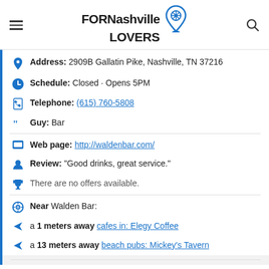FORNashville LOVERS
Address: 2909B Gallatin Pike, Nashville, TN 37216
Schedule: Closed · Opens 5PM
Telephone: (615) 760-5808
Guy: Bar
Web page: http://waldenbar.com/
Review: "Good drinks, great service."
There are no offers available.
Near Walden Bar:
a 1 meters away cafes in: Elegy Coffee
a 13 meters away beach pubs: Mickey's Tavern
Are you the owner of the business? PROMOTE